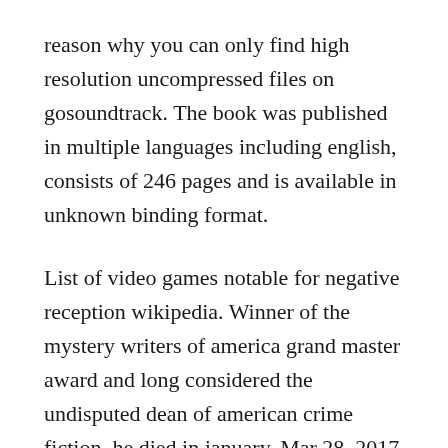reason why you can only find high resolution uncompressed files on gosoundtrack. The book was published in multiple languages including english, consists of 246 pages and is available in unknown binding format.
List of video games notable for negative reception wikipedia. Winner of the mystery writers of america grand master award and long considered the undisputed dean of american crime fiction, he died in january. Mar 28, 2017 report the bad behavior to company executives. Badblue enterprise